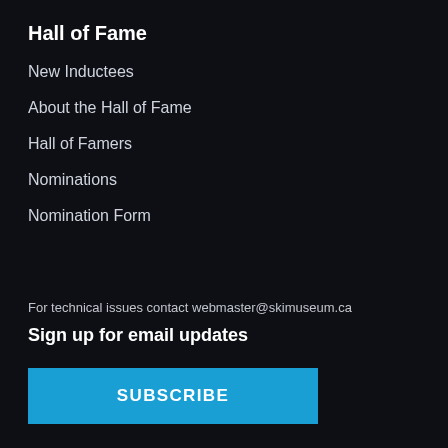Hall of Fame
New Inductees
About the Hall of Fame
Hall of Famers
Nominations
Nomination Form
For technical issues contact webmaster@skimuseum.ca
Sign up for email updates
SUBSCRIBE